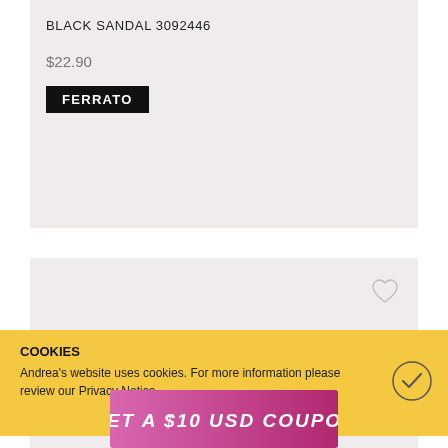BLACK SANDAL 3092446
$22.90
[Figure (logo): FERRATO brand badge — white text on black rectangle]
[Figure (photo): Empty product card area with heart/wishlist icon in top right corner]
COOKIES
Andrea's website uses cookies. For more information please review our Privacy Notice.
[Figure (other): Checkmark inside circle icon — accept cookies button]
[Figure (infographic): Pink-to-magenta gradient banner reading GET A $10 USD COUPON]